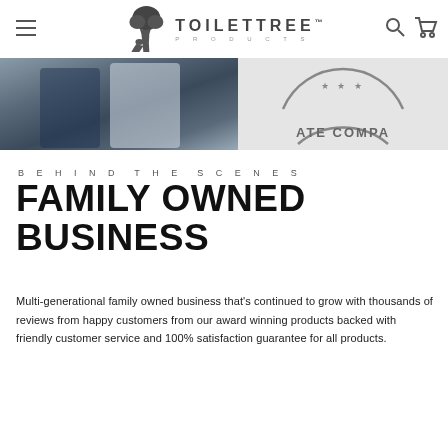ToiletTree Products
[Figure (photo): Header image strip showing two people on the left side and a circular stamp/seal reading 'ATE COMPA' (partially visible) on the right side]
BEHIND THE SCENES
FAMILY OWNED BUSINESS
Multi-generational family owned business that's continued to grow with thousands of reviews from happy customers from our award winning products backed with friendly customer service and 100% satisfaction guarantee for all products.